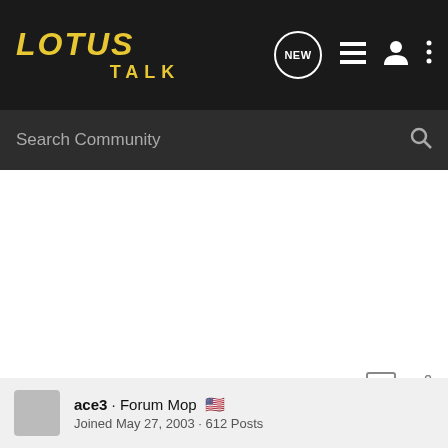LOTUS TALK
Lotus and your Lotus friends at The Indianapolis Motor Speedway?
Happy Lotusing!
Join Lotus Ltd. - North America's Largest Lotus Owners Club
MVP Track Time :shift:
ace3 · Forum Mop 🇺🇸
Joined May 27, 2003 · 612 Posts